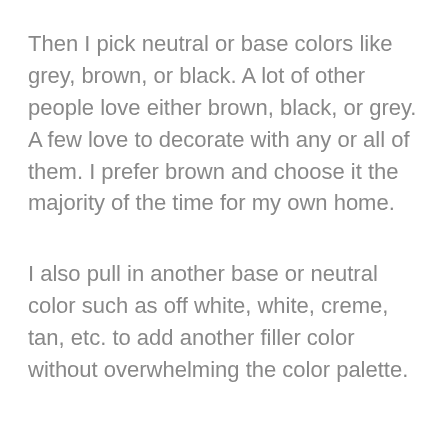Then I pick neutral or base colors like grey, brown, or black. A lot of other people love either brown, black, or grey. A few love to decorate with any or all of them. I prefer brown and choose it the majority of the time for my own home.
I also pull in another base or neutral color such as off white, white, creme, tan, etc. to add another filler color without overwhelming the color palette.